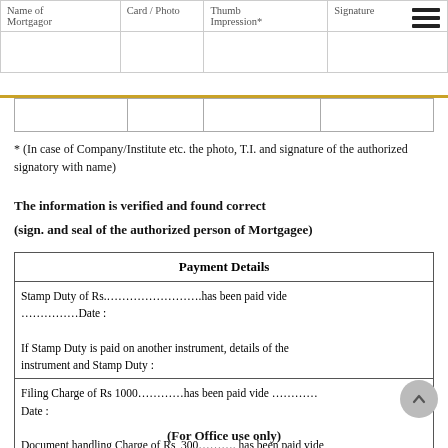| Name of Mortgagor | Card / Photo | Thumb Impression* | Signature |
| --- | --- | --- | --- |
|  |  |  |  |
* (In case of Company/Institute etc. the photo, T.I. and signature of the authorized signatory with name)
The information is verified and found correct
(sign. and seal of the authorized person of Mortgagee)
| Payment Details |
| --- |
| Stamp Duty of Rs.…………………….has been paid vide ……………Date : |
| If Stamp Duty is paid on another instrument, details of the instrument and Stamp Duty : |
| Filing Charge of Rs 1000…………has been paid vide …………
Date :

Document handling Charge of Rs 300………. has been paid vide ………Date : |
(For Office use only)